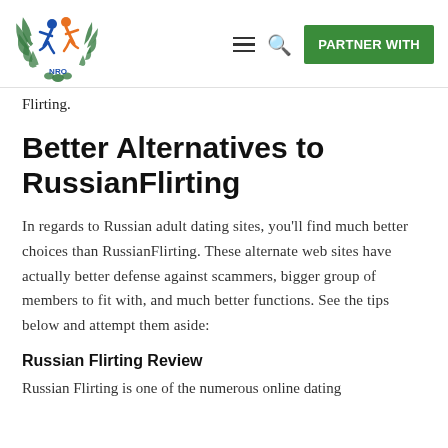[Figure (logo): NRO logo with two figures and laurel wreath, colorful orange, blue, green]
≡ 🔍 PARTNER WITH
Flirting.
Better Alternatives to RussianFlirting
In regards to Russian adult dating sites, you'll find much better choices than RussianFlirting. These alternate web sites have actually better defense against scammers, bigger group of members to fit with, and much better functions. See the tips below and attempt them aside:
Russian Flirting Review
Russian Flirting is one of the numerous online dating